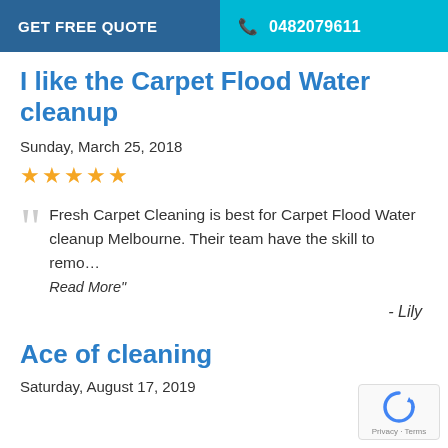GET FREE QUOTE   0482079611
I like the Carpet Flood Water cleanup
Sunday, March 25, 2018
★★★★★
Fresh Carpet Cleaning is best for Carpet Flood Water cleanup Melbourne. Their team have the skill to remo…
Read More"
- Lily
Ace of cleaning
Saturday, August 17, 2019